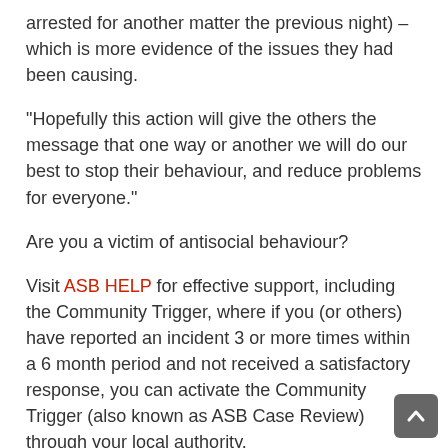arrested for another matter the previous night) – which is more evidence of the issues they had been causing.
“Hopefully this action will give the others the message that one way or another we will do our best to stop their behaviour, and reduce problems for everyone.”
Are you a victim of antisocial behaviour?
Visit ASB HELP for effective support, including the Community Trigger, where if you (or others) have reported an incident 3 or more times within a 6 month period and not received a satisfactory response, you can activate the Community Trigger (also known as ASB Case Review) through your local authority.
Read More From Wigan
If someone is in immediate danger, please call 999 now.
Contact the Wigan safeguarding teams if you’re concerned